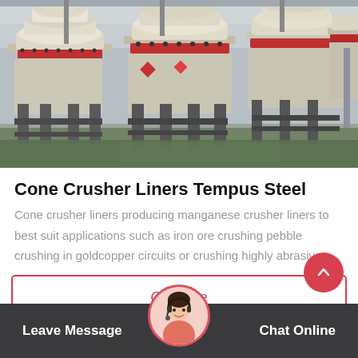[Figure (photo): Industrial cone crushers lined up in a factory/warehouse. Multiple large white and red cone crusher machines on metal frames, photographed indoors.]
Cone Crusher Liners Tempus Steel
Cone crusher liners producing manganese crusher liners to best suit applications such as iron ore crushing pebble crushing in goldcopper circuits or crushing highly abrasive…
Get Price
Leave Message  Chat Online